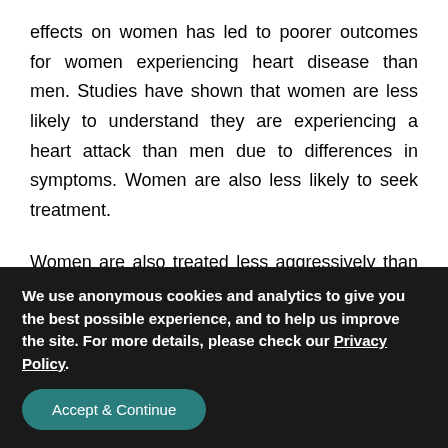effects on women has led to poorer outcomes for women experiencing heart disease than men. Studies have shown that women are less likely to understand they are experiencing a heart attack than men due to differences in symptoms. Women are also less likely to seek treatment.

Women are also treated less aggressively than men following a diagnosis involving heart disease. In order to combat these differences, it is important for women to understand ways to prevent heart disease as well as to learn to identify when they may be experiencing
We use anonymous cookies and analytics to give you the best possible experience, and to help us improve the site. For more details, please check our Privacy Policy.